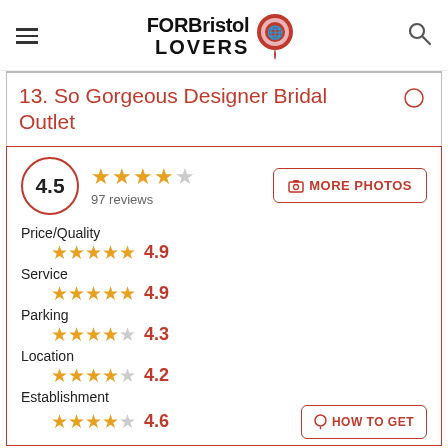FORBristol LOVERS
13. So Gorgeous Designer Bridal Outlet
4.5 — 97 reviews
Price/Quality 4.9
Service 4.9
Parking 4.3
Location 4.2
Establishment 4.6